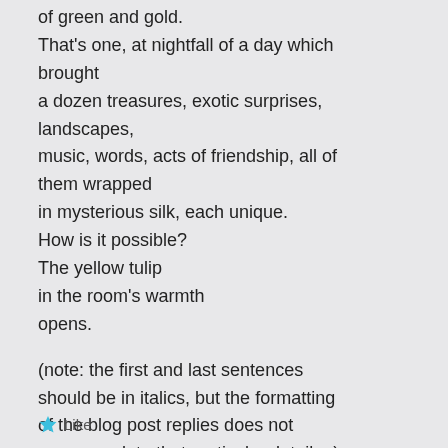of green and gold.
That's one, at nightfall of a day which brought
a dozen treasures, exotic surprises, landscapes,
music, words, acts of friendship, all of them wrapped
in mysterious silk, each unique.
How is it possible?
The yellow tulip
in the room's warmth
opens.
(note: the first and last sentences should be in italics, but the formatting of the blog post replies does not accommodate that particular detail....)
Like